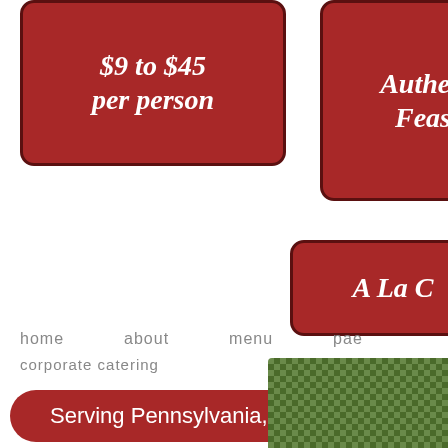[Figure (other): Red rounded box with italic script text '$9 to $45 per person']
[Figure (other): Red rounded box (partially visible) with script text 'Authen... Feas...']
[Figure (other): Red rounded box (partially visible) with script text 'A La C...']
Home   about   menu   pae... corporate catering
Serving Pennsylvania, Delaware, ...
[Figure (photo): Partial photo of greenery/food in bottom right corner]